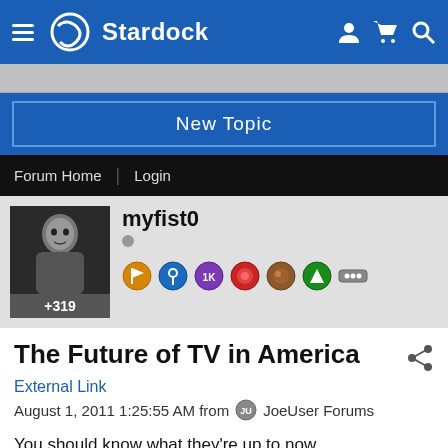Stardock
New Topic
Forum Home | Login
myfist0 +319
The Future of TV in America
External Link
August 1, 2011 1:25:55 AM from JoeUser Forums
You should know what they're up to now.
Where do Americans turn during times of crisis? For critical information, viewers depend on local TV.